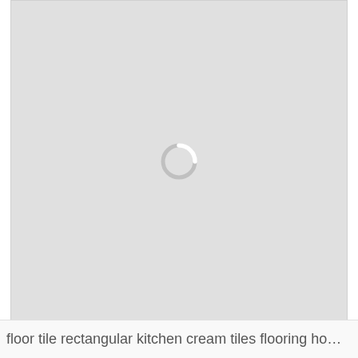[Figure (other): Loading placeholder: a large light grey rectangle with a circular loading spinner icon (grey ring with a white arc highlight) centered in the image area.]
floor tile rectangular kitchen cream tiles flooring homesf...